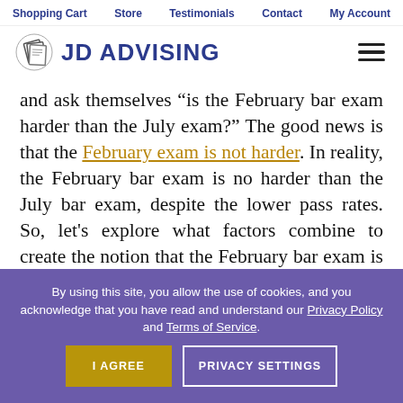Shopping Cart | Store | Testimonials | Contact | My Account
[Figure (logo): JD Advising logo with diploma icon and site navigation hamburger menu]
and ask themselves “is the February bar exam harder than the July exam?” The good news is that the February exam is not harder. In reality, the February bar exam is no harder than the July bar exam, despite the lower pass rates. So, let’s explore what factors combine to create the notion that the February bar exam is the more
By using this site, you allow the use of cookies, and you acknowledge that you have read and understand our Privacy Policy and Terms of Service.
I AGREE | PRIVACY SETTINGS